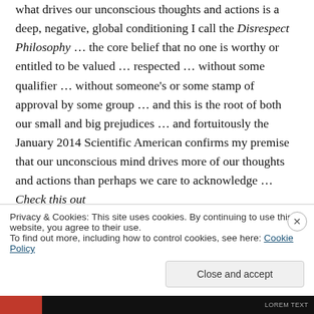what drives our unconscious thoughts and actions is a deep, negative, global conditioning I call the Disrespect Philosophy … the core belief that no one is worthy or entitled to be valued … respected … without some qualifier … without someone's or some stamp of approval by some group … and this is the root of both our small and big prejudices … and fortuitously the January 2014 Scientific American confirms my premise that our unconscious mind drives more of our thoughts and actions than perhaps we care to acknowledge … Check this out
Privacy & Cookies: This site uses cookies. By continuing to use this website, you agree to their use. To find out more, including how to control cookies, see here: Cookie Policy
Close and accept